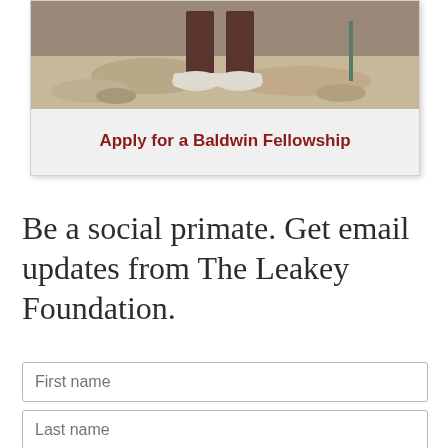[Figure (photo): Photo of a person's lower body and shoes standing on sandy/rocky ground, shown at the top of a card element]
Apply for a Baldwin Fellowship
Be a social primate. Get email updates from The Leakey Foundation.
First name
Last name